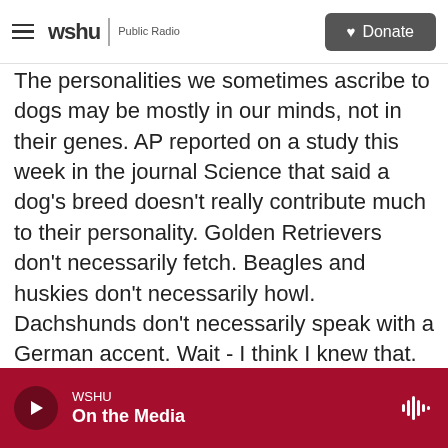wshu | Public Radio — Donate
The personalities we sometimes ascribe to dogs may be mostly in our minds, not in their genes. AP reported on a study this week in the journal Science that said a dog's breed doesn't really contribute much to their personality. Golden Retrievers don't necessarily fetch. Beagles and huskies don't necessarily howl. Dachshunds don't necessarily speak with a German accent. Wait - I think I knew that.
There is a huge amount of behavioral variation in every breed, said study co-author and University of Massachusetts geneticist Elinor Karlsson. At the end of the day, every dog is really an individual. The
WSHU — On the Media